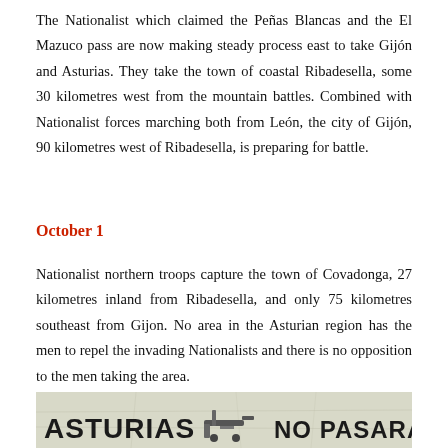The Nationalist which claimed the Peñas Blancas and the El Mazuco pass are now making steady process east to take Gijón and Asturias. They take the town of coastal Ribadesella, some 30 kilometres west from the mountain battles. Combined with Nationalist forces marching both from León, the city of Gijón, 90 kilometres west of Ribadesella, is preparing for battle.
October 1
Nationalist northern troops capture the town of Covadonga, 27 kilometres inland from Ribadesella, and only 75 kilometres southeast from Gijon. No area in the Asturian region has the men to repel the invading Nationalists and there is no opposition to the men taking the area.
[Figure (photo): A propaganda poster or image with bold black text reading 'ASTURIAS' on the left and 'NO PASARAN' on the right, with a figure or mechanical element in the center, on a light/aged background.]